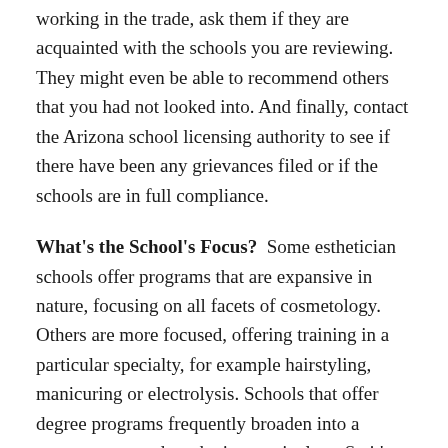working in the trade, ask them if they are acquainted with the schools you are reviewing. They might even be able to recommend others that you had not looked into. And finally, contact the Arizona school licensing authority to see if there have been any grievances filed or if the schools are in full compliance.
What's the School's Focus? Some esthetician schools offer programs that are expansive in nature, focusing on all facets of cosmetology. Others are more focused, offering training in a particular specialty, for example hairstyling, manicuring or electrolysis. Schools that offer degree programs frequently broaden into a management and marketing curriculum. So it's important that you pick a school that focuses on your area of interest. Since your objective is to be trained as an esthetician, make certain that the school you enroll in is accredited and well regarded for that program. If your desire is to start a El Mirage AZ beauty salon, then you